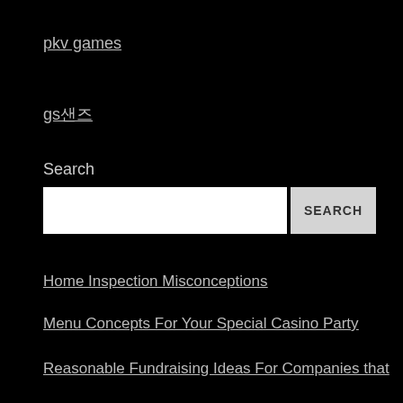pkv games
gs샌즈
Search
Home Inspection Misconceptions
Menu Concepts For Your Special Casino Party
Reasonable Fundraising Ideas For Companies that